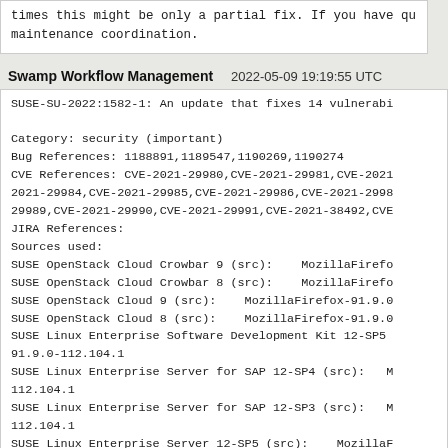times this might be only a partial fix. If you have qu maintenance coordination.
Swamp Workflow Management   2022-05-09 19:19:55 UTC
SUSE-SU-2022:1582-1: An update that fixes 14 vulnerabi

Category: security (important)
Bug References: 1188891,1189547,1190269,1190274
CVE References: CVE-2021-29980,CVE-2021-29981,CVE-2021-2021-29984,CVE-2021-29985,CVE-2021-29986,CVE-2021-2998 29989,CVE-2021-29990,CVE-2021-29991,CVE-2021-38492,CVE
JIRA References:
Sources used:
SUSE OpenStack Cloud Crowbar 9 (src):    MozillaFirefo
SUSE OpenStack Cloud Crowbar 8 (src):    MozillaFirefo
SUSE OpenStack Cloud 9 (src):    MozillaFirefox-91.9.0
SUSE OpenStack Cloud 8 (src):    MozillaFirefox-91.9.0
SUSE Linux Enterprise Software Development Kit 12-SP5  91.9.0-112.104.1
SUSE Linux Enterprise Server for SAP 12-SP4 (src):   M 112.104.1
SUSE Linux Enterprise Server for SAP 12-SP3 (src):   M 112.104.1
SUSE Linux Enterprise Server 12-SP5 (src):    MozillaF
SUSE Linux Enterprise Server 12-SP4-LTSS (src):   Moz
SUSE Linux Enterprise Server 12-SP3-LTSS (src):   Moz